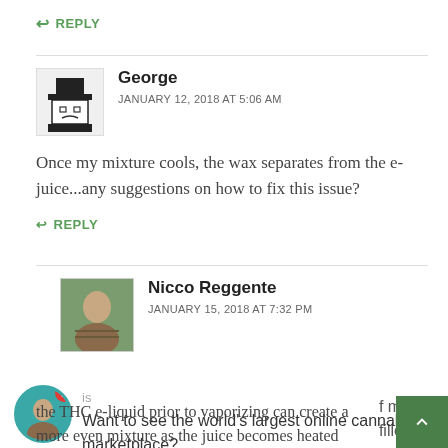REPLY
George
JANUARY 12, 2018 AT 5:06 AM
Once my mixture cools, the wax separates from the e-juice...any suggestions on how to fix this issue?
REPLY
Nicco Reggente
JANUARY 15, 2018 AT 7:32 PM
Want to see the world's largest online cannabis marketplace?
the THC e-liquid prior to vaporizing can create a more even mixture as the juice becomes heated